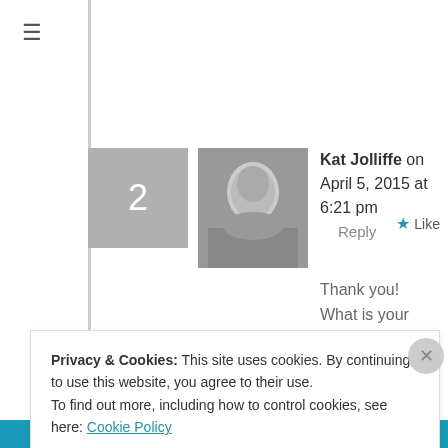≡
2
[Figure (photo): Black and white photo of a person (avatar for Kat Jolliffe)]
Kat Jolliffe on April 5, 2015 at 6:21 pm   Reply   ★ Like
Thank you! What is your presentation on exactly? fertility? disenfranchised grief? social expectations and child birth? My blog hardly covers anything really except the expression of my own feelings around childbirth in a round about way i guess. I would recommend you research social
Privacy & Cookies: This site uses cookies. By continuing to use this website, you agree to their use.
To find out more, including how to control cookies, see here: Cookie Policy
Close and accept